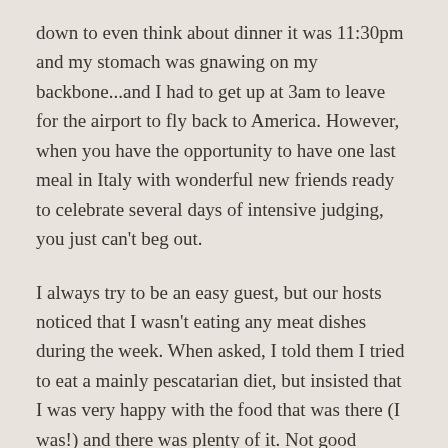down to even think about dinner it was 11:30pm and my stomach was gnawing on my backbone...and I had to get up at 3am to leave for the airport to fly back to America. However, when you have the opportunity to have one last meal in Italy with wonderful new friends ready to celebrate several days of intensive judging, you just can't beg out.

I always try to be an easy guest, but our hosts noticed that I wasn't eating any meat dishes during the week. When asked, I told them I tried to eat a mainly pescatarian diet, but insisted that I was very happy with the food that was there (I was!) and there was plenty of it. Not good enough! My sweet hosts were very proud to tell me they had a special dish coming for me...at almost midnight now. I was very touched by their kindness...and then a bit freaked out when the dish came...one of the